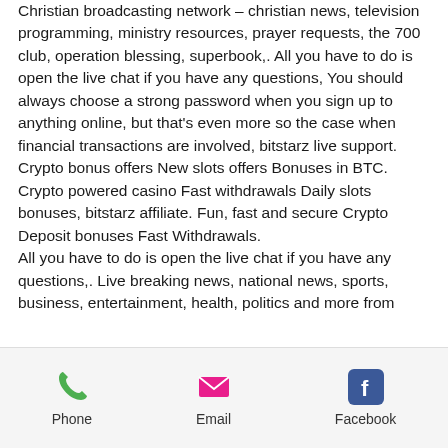Christian broadcasting network – christian news, television programming, ministry resources, prayer requests, the 700 club, operation blessing, superbook,. All you have to do is open the live chat if you have any questions, You should always choose a strong password when you sign up to anything online, but that's even more so the case when financial transactions are involved, bitstarz live support.
Crypto bonus offers New slots offers Bonuses in BTC. Crypto powered casino Fast withdrawals Daily slots bonuses, bitstarz affiliate. Fun, fast and secure Crypto Deposit bonuses Fast Withdrawals.
All you have to do is open the live chat if you have any questions,. Live breaking news, national news, sports, business, entertainment, health, politics and more from
Phone  Email  Facebook